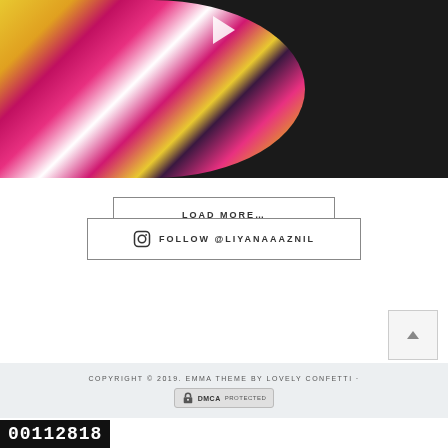[Figure (photo): Abstract colorful artwork with pink, yellow, magenta and black paint splashes in a rounded shape on dark background, with a play button overlay]
LOAD MORE…
FOLLOW @LIYANAAAZNIL
[Figure (other): Back to top button with upward chevron arrow]
COPYRIGHT © 2019. EMMA THEME BY LOVELY CONFETTI ·
DMCA PROTECTED
00112818